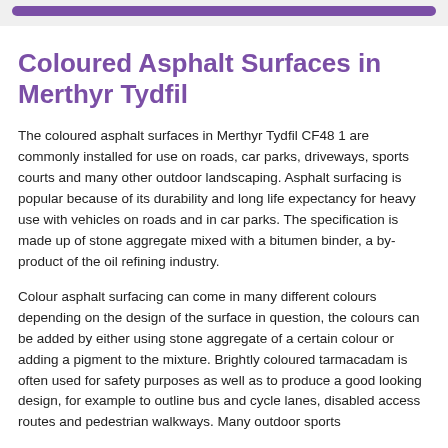Coloured Asphalt Surfaces in Merthyr Tydfil
The coloured asphalt surfaces in Merthyr Tydfil CF48 1 are commonly installed for use on roads, car parks, driveways, sports courts and many other outdoor landscaping. Asphalt surfacing is popular because of its durability and long life expectancy for heavy use with vehicles on roads and in car parks. The specification is made up of stone aggregate mixed with a bitumen binder, a by-product of the oil refining industry.
Colour asphalt surfacing can come in many different colours depending on the design of the surface in question, the colours can be added by either using stone aggregate of a certain colour or adding a pigment to the mixture. Brightly coloured tarmacadam is often used for safety purposes as well as to produce a good looking design, for example to outline bus and cycle lanes, disabled access routes and pedestrian walkways. Many outdoor sports